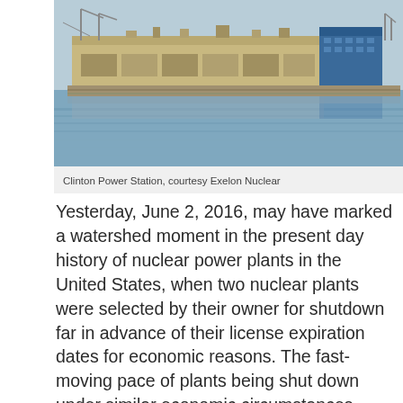[Figure (photo): Aerial/ground-level photograph of Clinton Power Station industrial nuclear facility with large rectangular buildings, cranes, and a body of water in the foreground reflecting the structures. Blue sky and calm water visible.]
Clinton Power Station, courtesy Exelon Nuclear
Yesterday, June 2, 2016, may have marked a watershed moment in the present day history of nuclear power plants in the United States, when two nuclear plants were selected by their owner for shutdown far in advance of their license expiration dates for economic reasons. The fast-moving pace of plants being shut down under similar economic circumstances (unbalanced energy markets that favor other forms of energy to the detriment of nuclear) signals a broken system that must be changed, now.